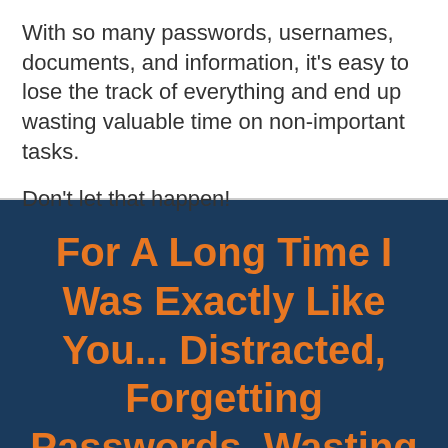With so many passwords, usernames, documents, and information, it's easy to lose the track of everything and end up wasting valuable time on non-important tasks.
Don't let that happen!
For A Long Time I Was Exactly Like You... Distracted, Forgetting Passwords, Wasting Time